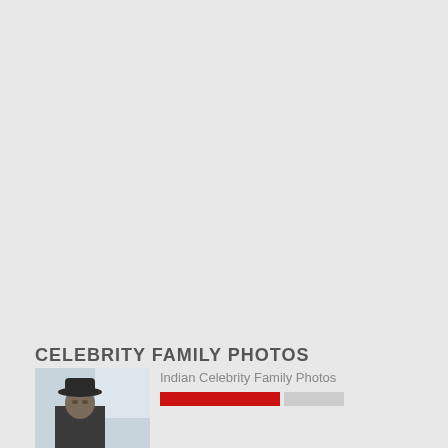CELEBRITY FAMILY PHOTOS
[Figure (photo): Thumbnail photo of a person wearing a dark hat against a snowy/light background]
Indian Celebrity Family Photos